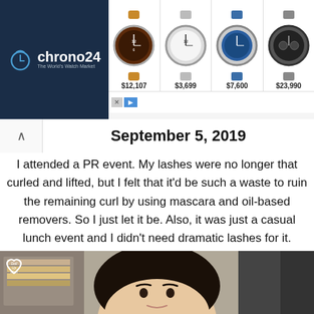[Figure (screenshot): Chrono24 advertisement banner showing four watches with prices: $12,107, $3,699, $7,600, $23,990]
September 5, 2019
I attended a PR event. My lashes were no longer that curled and lifted, but I felt that it'd be such a waste to ruin the remaining curl by using mascara and oil-based removers. So I just let it be. Also, it was just a casual lunch event and I didn't need dramatic lashes for it.
[Figure (photo): Selfie photo of a woman with straight black hair, looking up at the camera, with a 'Doll Up Mari' heart logo watermark in the top left corner]